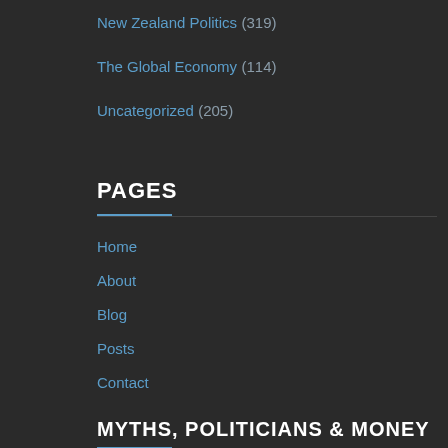New Zealand Politics (319)
The Global Economy (114)
Uncategorized (205)
PAGES
Home
About
Blog
Posts
Contact
MYTHS, POLITICIANS & MONEY
[Figure (illustration): Book cover image for 'Myths, Politicians & Money' alongside text 'Ripping the lid off the myth of the free market triumph' and 'Out Now. Published by:' with a blue bar]